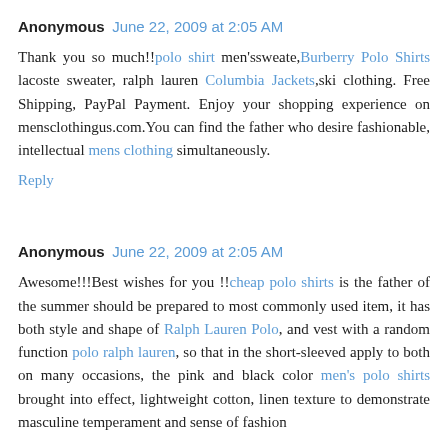Anonymous  June 22, 2009 at 2:05 AM
Thank you so much!!polo shirt men'ssweate,Burberry Polo Shirts lacoste sweater, ralph lauren Columbia Jackets,ski clothing. Free Shipping, PayPal Payment. Enjoy your shopping experience on mensclothingus.com.You can find the father who desire fashionable, intellectual mens clothing simultaneously.
Reply
Anonymous  June 22, 2009 at 2:05 AM
Awesome!!!Best wishes for you !!cheap polo shirts is the father of the summer should be prepared to most commonly used item, it has both style and shape of Ralph Lauren Polo, and vest with a random function polo ralph lauren, so that in the short-sleeved apply to both on many occasions, the pink and black color men's polo shirts brought into effect, lightweight cotton, linen texture to demonstrate masculine temperament and sense of fashion